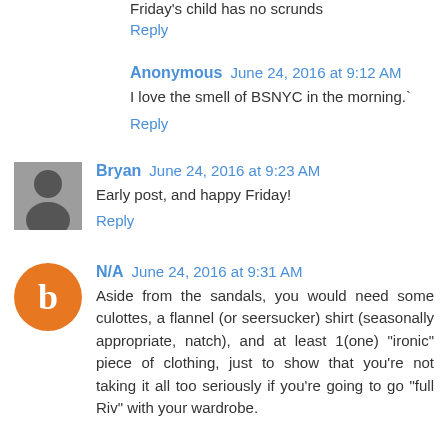Friday's child has no scrunds
Reply
Anonymous  June 24, 2016 at 9:12 AM
I love the smell of BSNYC in the morning.`
Reply
Bryan  June 24, 2016 at 9:23 AM
Early post, and happy Friday!
Reply
N/A  June 24, 2016 at 9:31 AM
Aside from the sandals, you would need some culottes, a flannel (or seersucker) shirt (seasonally appropriate, natch), and at least 1(one) "ironic" piece of clothing, just to show that you're not taking it all too seriously if you're going to go "full Riv" with your wardrobe.